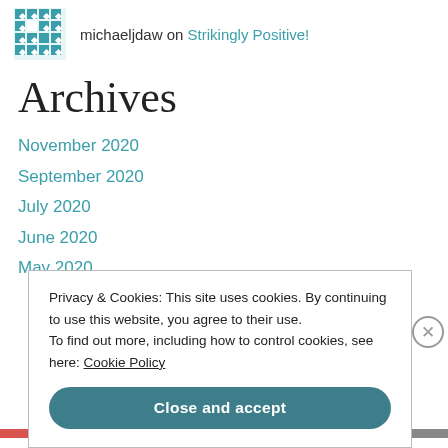michaeljdaw on Strikingly Positive!
Archives
November 2020
September 2020
July 2020
June 2020
May 2020
Privacy & Cookies: This site uses cookies. By continuing to use this website, you agree to their use. To find out more, including how to control cookies, see here: Cookie Policy
Close and accept